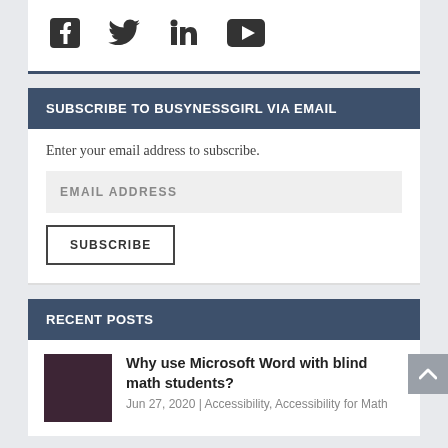[Figure (other): Social media icons: Facebook, Twitter, LinkedIn, YouTube]
SUBSCRIBE TO BUSYNESSGIRL VIA EMAIL
Enter your email address to subscribe.
EMAIL ADDRESS
SUBSCRIBE
RECENT POSTS
[Figure (photo): Thumbnail image for blog post]
Why use Microsoft Word with blind math students?
Jun 27, 2020 | Accessibility, Accessibility for Math